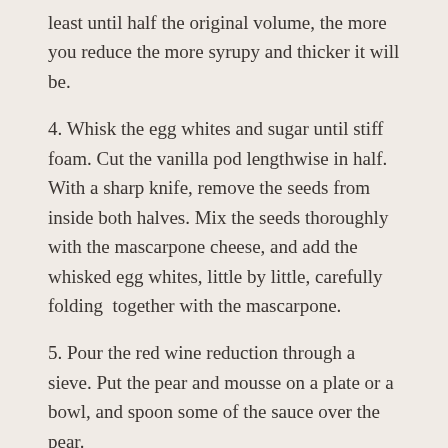least until half the original volume, the more you reduce the more syrupy and thicker it will be.
4. Whisk the egg whites and sugar until stiff foam. Cut the vanilla pod lengthwise in half. With a sharp knife, remove the seeds from inside both halves. Mix the seeds thoroughly with the mascarpone cheese, and add the whisked egg whites, little by little, carefully folding  together with the mascarpone.
5. Pour the red wine reduction through a sieve. Put the pear and mousse on a plate or a bowl, and spoon some of the sauce over the pear.